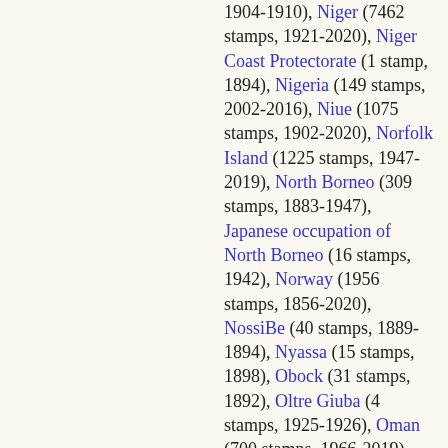1904-1910), Niger (7462 stamps, 1921-2020), Niger Coast Protectorate (1 stamp, 1894), Nigeria (149 stamps, 2002-2016), Niue (1075 stamps, 1902-2020), Norfolk Island (1225 stamps, 1947-2019), North Borneo (309 stamps, 1883-1947), Japanese occupation of North Borneo (16 stamps, 1942), Norway (1956 stamps, 1856-2020), NossiBe (40 stamps, 1889-1894), Nyassa (15 stamps, 1898), Obock (31 stamps, 1892), Oltre Giuba (4 stamps, 1925-1926), Oman (700 stamps, 1966-2019), Orange River Colony (73 stamps, 1868-1902)